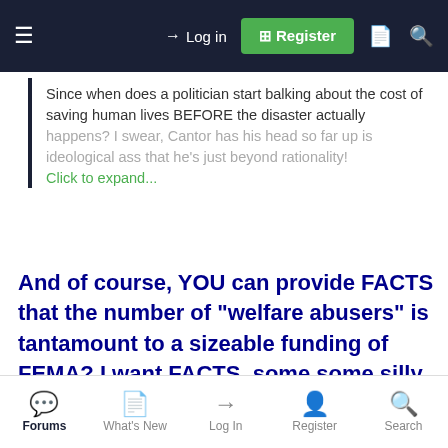Log in  Register
Since when does a politician start balking about the cost of saving human lives BEFORE the disaster actually happens? I swear, Cantor has his head so far up is ideological ass that he's just beyond rationality!
Click to expand...
And of course, YOU can provide FACTS that the number of "welfare abusers" is tantamount to a sizeable funding of FEMA? I want FACTS, some some silly assed supposition and conjecture. If you can't meet the burden of proof regarding your assertion, then don't waste time and space posting such BS as you just did.
Forums  What's New  Log In  Register  Search